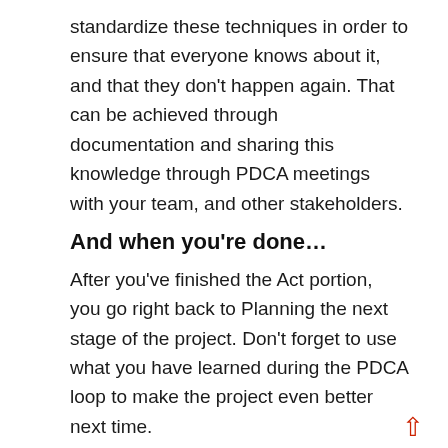standardize these techniques in order to ensure that everyone knows about it, and that they don't happen again. That can be achieved through documentation and sharing this knowledge through PDCA meetings with your team, and other stakeholders.
And when you're done…
After you've finished the Act portion, you go right back to Planning the next stage of the project. Don't forget to use what you have learned during the PDCA loop to make the project even better next time.
Summary
• PDCA is a quality…